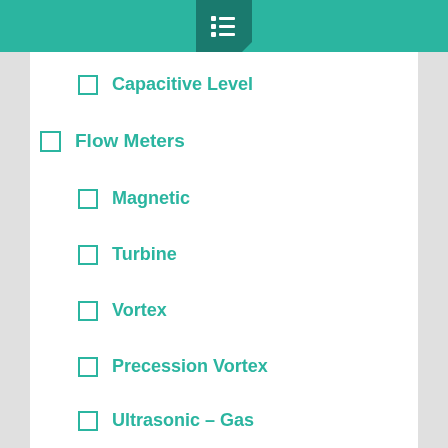Capacitive Level
Flow Meters
Magnetic
Turbine
Vortex
Precession Vortex
Ultrasonic – Liquid
Ultrasonic – Gas
DP Flow
Volumetric
Mass